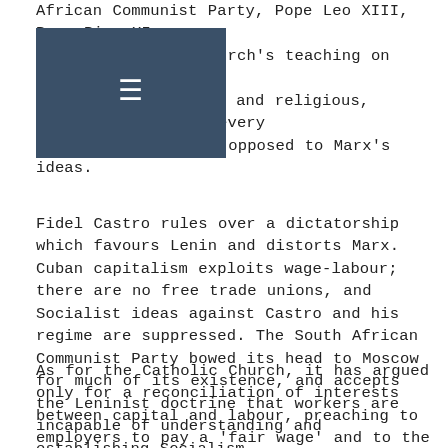African Communist Party, Pope Leo XIII, Pope Pius XI, and the Catholic Church's teaching on social justice. An eclectic, political and religious, cocktail: each and every one of them totally opposed to Marx's ideas.
Fidel Castro rules over a dictatorship which favours Lenin and distorts Marx. Cuban capitalism exploits wage-labour; there are no free trade unions, and Socialist ideas against Castro and his regime are suppressed. The South African Communist Party bowed its head to Moscow for much of its existence, and accepts the Leninist doctrine that workers are incapable of understanding and establishing Socialism.
As for the Catholic Church, it has argued only for a reconciliation of interests between capital and labour, preaching to employers to pay a 'fair wage' and to the workers to be content with "a fair day's pay for a fair day's work". Where, in the actions of the Catholic Church, has